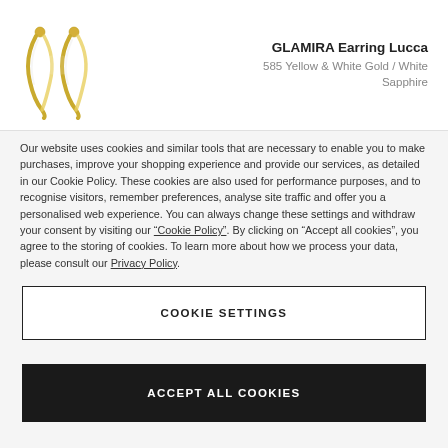[Figure (photo): Product image of GLAMIRA Earring Lucca — two gold and white drop earrings shown close up]
GLAMIRA Earring Lucca
585 Yellow & White Gold / White Sapphire
Our website uses cookies and similar tools that are necessary to enable you to make purchases, improve your shopping experience and provide our services, as detailed in our Cookie Policy. These cookies are also used for performance purposes, and to recognise visitors, remember preferences, analyse site traffic and offer you a personalised web experience. You can always change these settings and withdraw your consent by visiting our “Cookie Policy”. By clicking on “Accept all cookies”, you agree to the storing of cookies. To learn more about how we process your data, please consult our Privacy Policy.
COOKIE SETTINGS
ACCEPT ALL COOKIES